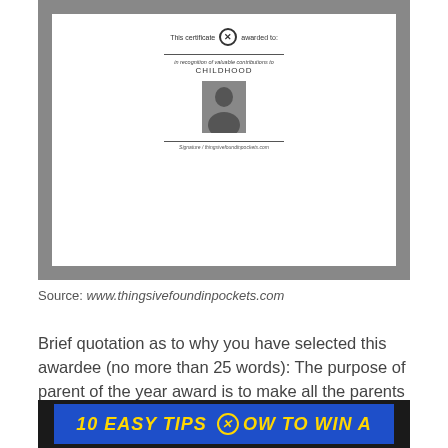[Figure (illustration): A certificate with ornate border pattern, showing 'This certificate is awarded to:' text with an X badge, a blank line, sub-text about CHILDHOOD, a small black and white photo of a child, and a signature line at the bottom.]
Source: www.thingsivefoundinpockets.com
Brief quotation as to why you have selected this awardee (no more than 25 words): The purpose of parent of the year award is to make all the parents out there realize that even though they think they're the worst parent in the world;
[Figure (screenshot): Blue banner image showing '10 EASY TIPS HOW TO WIN A' in bold yellow italic text with an X badge icon, against a blue background inside a dark frame.]